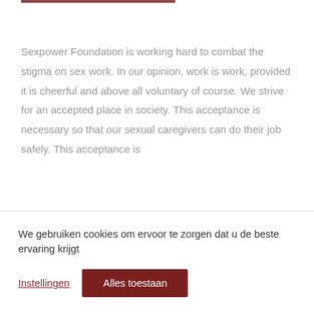Sexpower Foundation is working hard to combat the stigma on sex work. In our opinion, work is work, provided it is cheerful and above all voluntary of course. We strive for an accepted place in society. This acceptance is necessary so that our sexual caregivers can do their job safely. This acceptance is
We gebruiken cookies om ervoor te zorgen dat u de beste ervaring krijgt
Instellingen
Alles toestaan